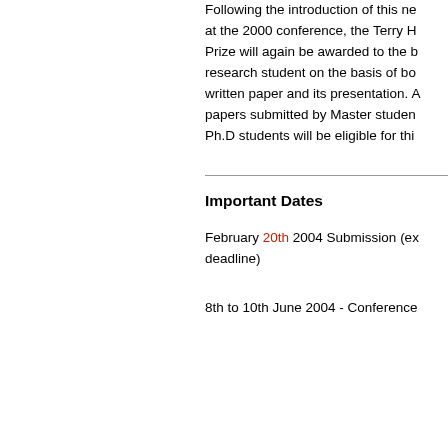Following the introduction of this ne at the 2000 conference, the Terry H Prize will again be awarded to the b research student on the basis of bo written paper and its presentation. A papers submitted by Master studen Ph.D students will be eligible for thi
Important Dates
February 20th 2004 Submission (ex deadline)
8th to 10th June 2004 - Conference